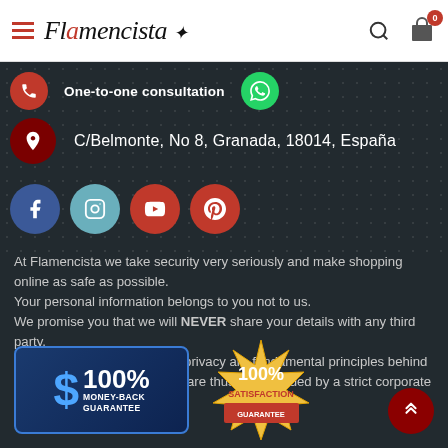Flamencista - header navigation with logo, search, and cart
One-to-one consultation
C/Belmonte, No 8, Granada, 18014, España
[Figure (logo): Social media icons: Facebook, Instagram, YouTube, Pinterest]
At Flamencista we take security very seriously and make shopping online as safe as possible.
Your personal information belongs to you not to us.
We promise you that we will NEVER share your details with any third party.
Customer confidentiality and privacy are fundamental principles behind the ethos of Flamencista and are thus safeguarded by a strict corporate policy.
[Figure (logo): 100% Money-Back Guarantee badge with dollar sign]
[Figure (logo): 100% Satisfaction Guarantee badge in gold/red]